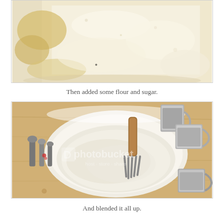[Figure (photo): Close-up photo of flour and sugar mixture with butter pieces in a mixing bowl, showing a crumbly dough texture with white flour dominating the frame.]
Then added some flour and sugar.
[Figure (photo): Overhead photo of a white mixing bowl on a wooden cutting board containing flour mixture being worked with a pastry blender tool with a wooden handle. Measuring cups and spoons are arranged around the bowl. A photobucket watermark is visible on the image.]
And blended it all up.